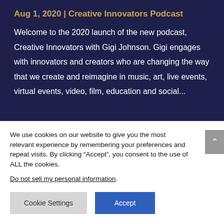Aug 1, 2020 | Creative Innovators Podcast
Welcome to the 2020 launch of the new podcast, Creative Innovators with Gigi Johnson. Gigi engages with innovators and creators who are changing the way that we create and reimagine in music, art, live events, virtual events, video, film, education and social...
We use cookies on our website to give you the most relevant experience by remembering your preferences and repeat visits. By clicking “Accept”, you consent to the use of ALL the cookies.
Do not sell my personal information.